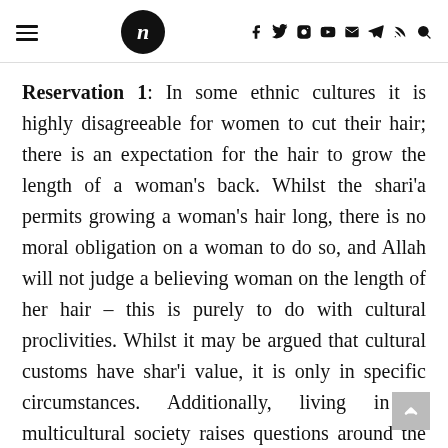n [logo] f y © ▶ ✉ ➤ )) Q
Reservation 1: In some ethnic cultures it is highly disagreeable for women to cut their hair; there is an expectation for the hair to grow the length of a woman's back. Whilst the shari'a permits growing a woman's hair long, there is no moral obligation on a woman to do so, and Allah will not judge a believing woman on the length of her hair – this is purely to do with cultural proclivities. Whilst it may be argued that cultural customs have shar'i value, it is only in specific circumstances. Additionally, living in a multicultural society raises questions around the notion of a homogenous custom that dictates